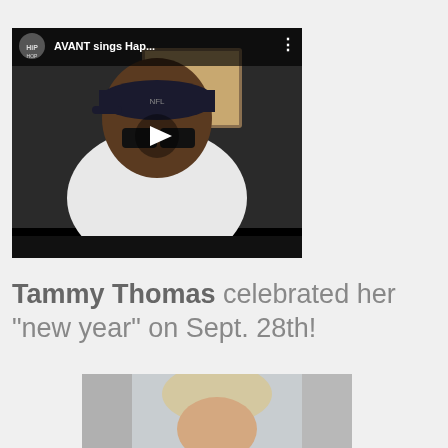[Figure (screenshot): YouTube video thumbnail showing a man wearing a black cap and sunglasses with a white jacket, with video title 'AVANT sings Hap...' and a play button overlay. Channel icon for HipHop visible.]
Tammy Thomas celebrated her "new year" on Sept. 28th!
[Figure (photo): Partial photo of a person with light hair, cropped, showing mostly the top of the head.]